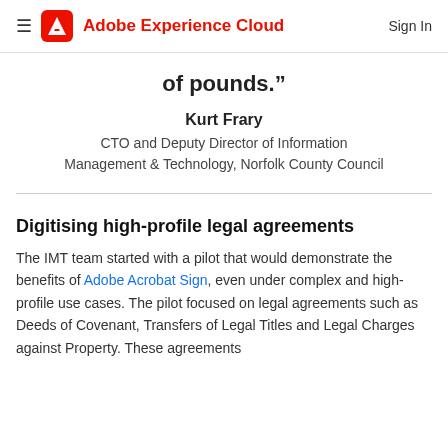Adobe Experience Cloud | Sign In
of pounds.”
Kurt Frary
CTO and Deputy Director of Information Management & Technology, Norfolk County Council
Digitising high-profile legal agreements
The IMT team started with a pilot that would demonstrate the benefits of Adobe Acrobat Sign, even under complex and high-profile use cases. The pilot focused on legal agreements such as Deeds of Covenant, Transfers of Legal Titles and Legal Charges against Property. These agreements